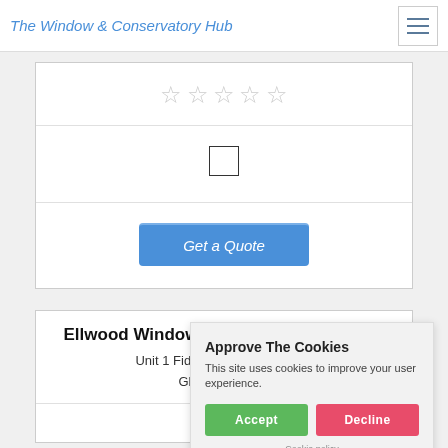The Window & Conservatory Hub
[Figure (other): Star rating widget showing 5 empty/outline stars]
[Figure (other): Empty checkbox UI element]
Get a Quote
Ellwood Windows & Conservatories Ltd
Unit 1 Fiddington House Farm, Gloucestershire
1777
Approve The Cookies
This site uses cookies to improve your user experience.
Cookie policy